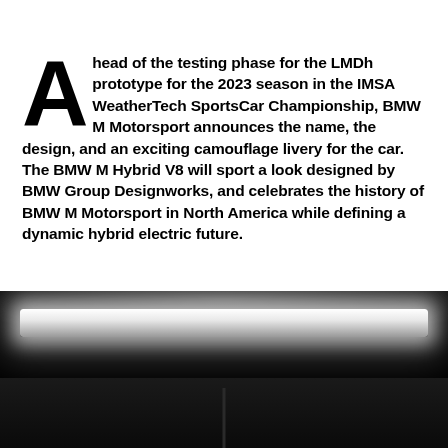Ahead of the testing phase for the LMDh prototype for the 2023 season in the IMSA WeatherTech SportsCar Championship, BMW M Motorsport announces the name, the design, and an exciting camouflage livery for the car. The BMW M Hybrid V8 will sport a look designed by BMW Group Designworks, and celebrates the history of BMW M Motorsport in North America while defining a dynamic hybrid electric future.
Read more
[Figure (photo): Dark atmospheric photo of what appears to be a car reveal or showroom, with a bright horizontal light bar/strip light at the top against a black background, creating dramatic lighting effect]